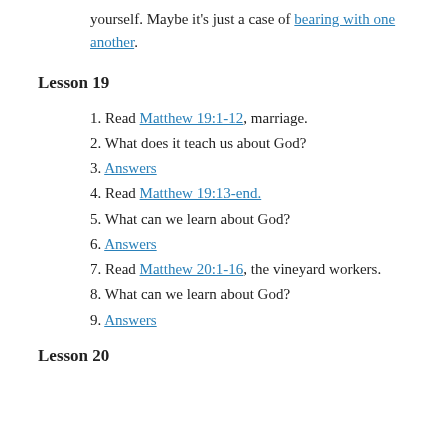yourself. Maybe it's just a case of bearing with one another.
Lesson 19
1. Read Matthew 19:1-12, marriage.
2. What does it teach us about God?
3. Answers
4. Read Matthew 19:13-end.
5. What can we learn about God?
6. Answers
7. Read Matthew 20:1-16, the vineyard workers.
8. What can we learn about God?
9. Answers
Lesson 20